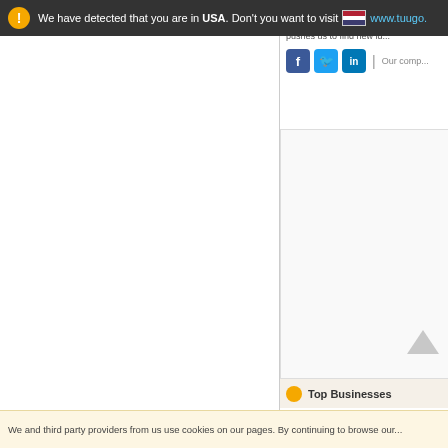We have detected that you are in USA. Don't you want to visit www.tuugo...
Airport Chauffeured Ca...
Constantly working on n... pushes us to find new id...
[Figure (screenshot): Social media icons: Facebook, Twitter, LinkedIn, and 'Our comp...' text link]
Top Businesses
We and third party providers from us use cookies on our pages. By continuing to browse our...